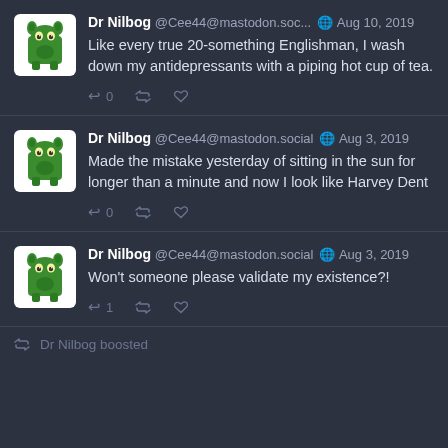Dr Nilbog @Cee44@mastodon.soc... Aug 10, 2019 — Like every true 20-something Englishman, I wash down my antidepressants with a piping hot cup of tea.
Dr Nilbog @Cee44@mastodon.social Aug 3, 2019 — Made the mistake yesterday of sitting in the sun for longer than a minute and now I look like Harvey Dent
Dr Nilbog @Cee44@mastodon.social Aug 3, 2019 — Won't someone please validate my existence?!
Dr Nilbog boosted